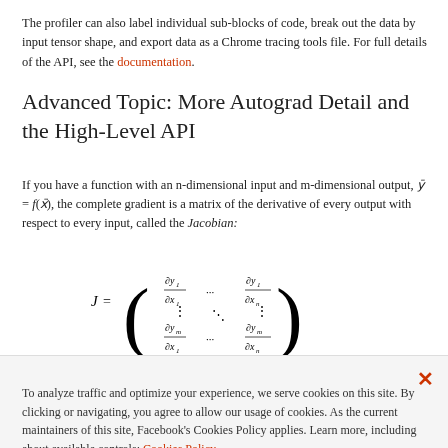The profiler can also label individual sub-blocks of code, break out the data by input tensor shape, and export data as a Chrome tracing tools file. For full details of the API, see the documentation.
Advanced Topic: More Autograd Detail and the High-Level API
If you have a function with an n-dimensional input and m-dimensional output, y⃗ = f(x⃗), the complete gradient is a matrix of the derivative of every output with respect to every input, called the Jacobian:
If you have a second function, l = g(y⃗) that takes m-dimensional input (that is, the same dimensionality as the output above), and returns a scalar output, you can
To analyze traffic and optimize your experience, we serve cookies on this site. By clicking or navigating, you agree to allow our usage of cookies. As the current maintainers of this site, Facebook's Cookies Policy applies. Learn more, including about available controls: Cookies Policy.